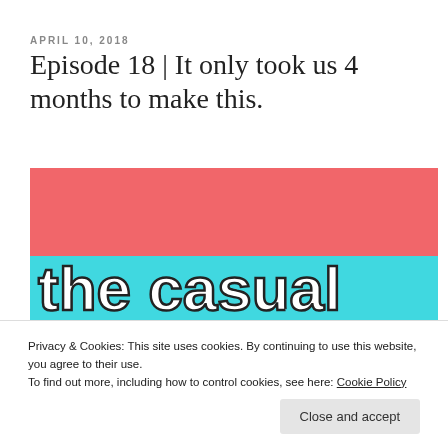APRIL 10, 2018
Episode 18 | It only took us 4 months to make this.
[Figure (illustration): Blog post featured image showing two horizontal color blocks: a coral/salmon red top half and a cyan/turquoise bottom half with large white outlined text reading 'the casual sound' in bold letters.]
Privacy & Cookies: This site uses cookies. By continuing to use this website, you agree to their use.
To find out more, including how to control cookies, see here: Cookie Policy
Close and accept